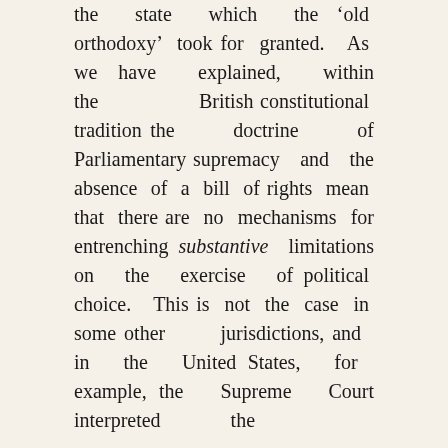the state which the 'old orthodoxy' took for granted. As we have explained, within the British constitutional tradition the doctrine of Parliamentary supremacy and the absence of a bill of rights mean that there are no mechanisms for entrenching substantive limitations on the exercise of political choice. This is not the case in some other jurisdictions, and in the United States, for example, the Supreme Court interpreted the